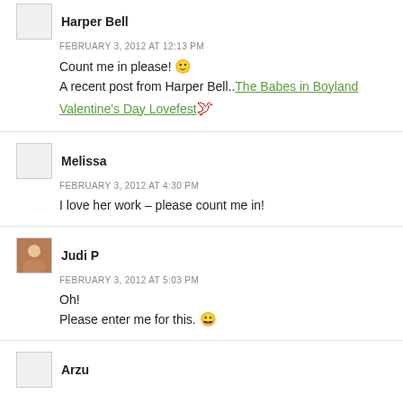Harper Bell — FEBRUARY 3, 2012 AT 12:13 PM — Count me in please! 🙂 A recent post from Harper Bell..The Babes in Boyland Valentine's Day Lovefest
Melissa — FEBRUARY 3, 2012 AT 4:30 PM — I love her work – please count me in!
Judi P — FEBRUARY 3, 2012 AT 5:03 PM — Oh! Please enter me for this. 😀
Arzu